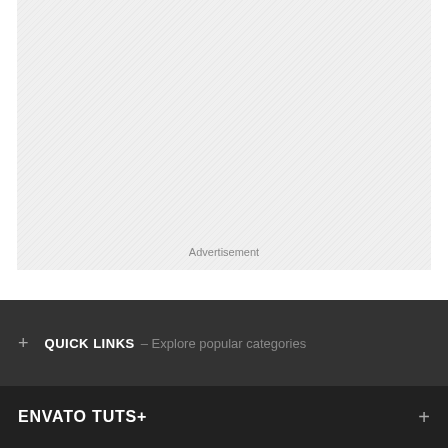[Figure (other): Advertisement placeholder box with diagonal hatching pattern and 'Advertisement' label at bottom center]
QUICK LINKS – Explore popular categories
ENVATO TUTS+